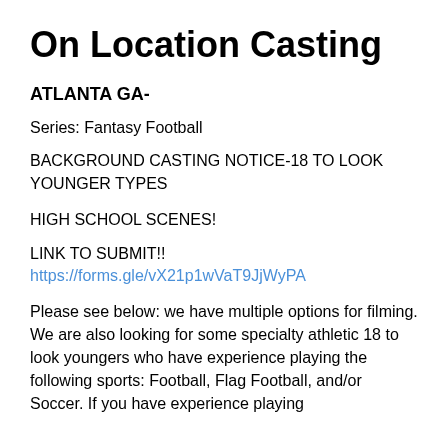On Location Casting
ATLANTA GA-
Series: Fantasy Football
BACKGROUND CASTING NOTICE-18 TO LOOK YOUNGER TYPES
HIGH SCHOOL SCENES!
LINK TO SUBMIT!! https://forms.gle/vX21p1wVaT9JjWyPA
Please see below: we have multiple options for filming. We are also looking for some specialty athletic 18 to look youngers who have experience playing the following sports: Football, Flag Football, and/or Soccer. If you have experience playing